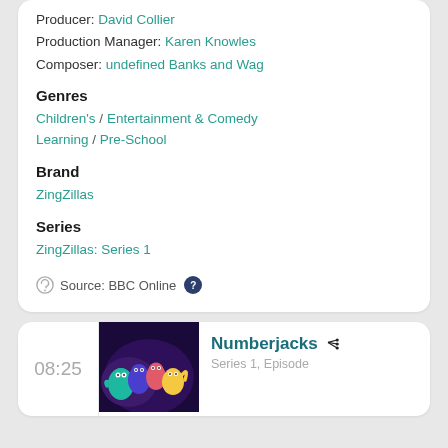Producer: David Collier
Production Manager: Karen Knowles
Composer: undefined Banks and Wag
Genres
Children's / Entertainment & Comedy Learning / Pre-School
Brand
ZingZillas
Series
ZingZillas: Series 1
Source: BBC Online
08:25
[Figure (photo): Colourful animated characters from Numberjacks TV show]
Numberjacks
Series 1, Episode